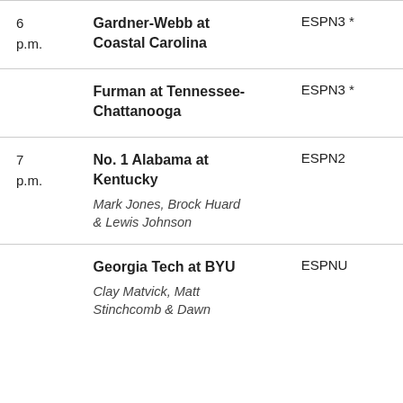| Time | Game | Network |
| --- | --- | --- |
| 6 p.m. | Gardner-Webb at Coastal Carolina | ESPN3 * |
|  | Furman at Tennessee-Chattanooga | ESPN3 * |
| 7 p.m. | No. 1 Alabama at Kentucky
Mark Jones, Brock Huard & Lewis Johnson | ESPN2 |
|  | Georgia Tech at BYU
Clay Matvick, Matt Stinchcomb & Dawn | ESPNU |